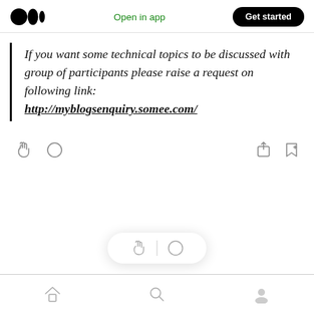Medium logo | Open in app | Get started
If you want some technical topics to be discussed with group of participants please raise a request on following link:
http://myblogsenquiry.somee.com/
[Figure (screenshot): Action icons row: clap hand icon, comment bubble icon on left; share icon, bookmark-plus icon on right]
[Figure (screenshot): Floating pill with clap hand icon, vertical divider, and comment bubble icon]
Bottom navigation bar with home, search, and profile icons